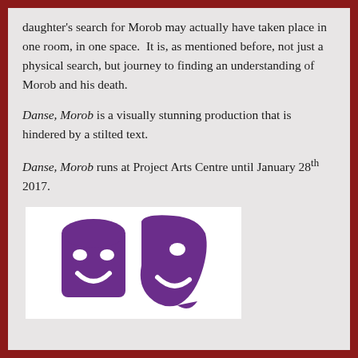daughter's search for Morob may actually have taken place in one room, in one space.  It is, as mentioned before, not just a physical search, but journey to finding an understanding of Morob and his death.
Danse, Morob is a visually stunning production that is hindered by a stilted text.
Danse, Morob runs at Project Arts Centre until January 28th 2017.
[Figure (logo): Purple stylized theatre masks logo on white background]